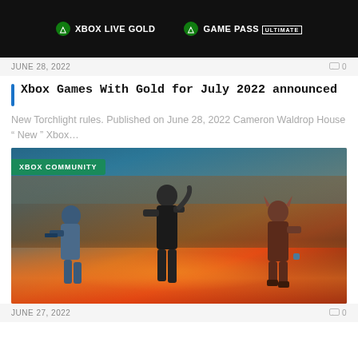[Figure (screenshot): Xbox Live Gold and Game Pass Ultimate promotional banner on dark background]
JUNE 28, 2022
Xbox Games With Gold for July 2022 announced
New Torchlight rules. Published on June 28, 2022 Cameron Waldrop House " New " Xbox...
[Figure (photo): Three armored video game characters running in front of explosions and fire. XBOX COMMUNITY label in top-left corner.]
JUNE 27, 2022